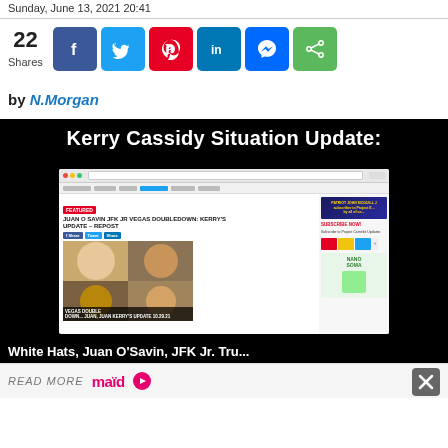Sunday, June 13, 2021 20:41
22 Shares
by N.Morgan
[Figure (screenshot): Screenshot of a website showing 'Kerry Cassidy Situation Update' video thumbnail with the headline 'JUAN O SAVIN JFK JR VEGAS DOUBLEDOWN: KERRY'S UPDATE – REPOST' and overlaid text 'White Hats, Juan O'Savin, JFK Jr. Tru...']
READ MORE maid